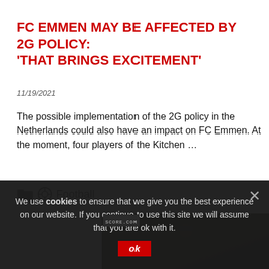FC EMMEN MAY BE AFFECTED BY 2G POLICY: 'THAT BRINGS EXCITEMENT'
11/19/2021
The possible implementation of the 2G policy in the Netherlands could also have an impact on FC Emmen. At the moment, four players of the Kitchen …
Football
[Figure (photo): A person photographed in a dark indoor setting, partially visible, with equipment in background. Logo 'SCORE.com' visible in top left corner.]
We use cookies to ensure that we give you the best experience on our website. If you continue to use this site we will assume that you are ok with it.